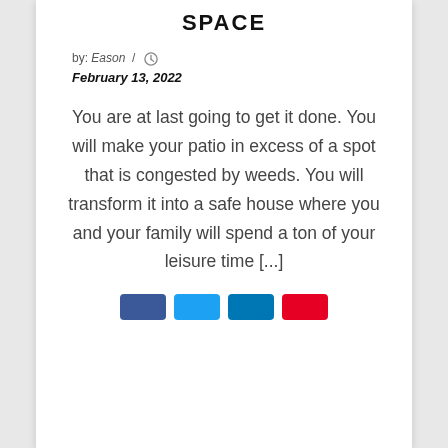SPACE
by: Eason / 🕐 February 13, 2022
You are at last going to get it done. You will make your patio in excess of a spot that is congested by weeds. You will transform it into a safe house where you and your family will spend a ton of your leisure time [...]